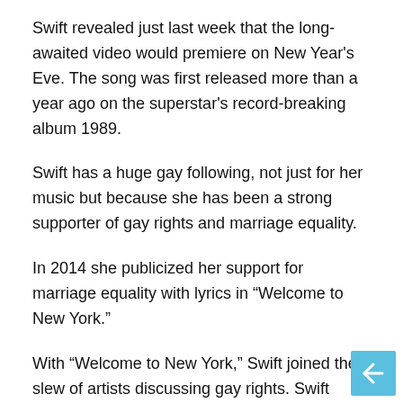Swift revealed just last week that the long-awaited video would premiere on New Year's Eve. The song was first released more than a year ago on the superstar's record-breaking album 1989.
Swift has a huge gay following, not just for her music but because she has been a strong supporter of gay rights and marriage equality.
In 2014 she publicized her support for marriage equality with lyrics in “Welcome to New York.”
With “Welcome to New York,” Swift joined the slew of artists discussing gay rights. Swift sings, “And you can want who you want/ Boys and boys and girls and girls.”
And in 2015, when the Supreme Court Marriage Equality case